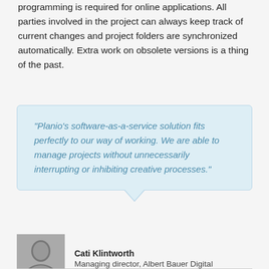programming is required for online applications. All parties involved in the project can always keep track of current changes and project folders are synchronized automatically. Extra work on obsolete versions is a thing of the past.
“Planio’s software-as-a-service solution fits perfectly to our way of working. We are able to manage projects without unnecessarily interrupting or inhibiting creative processes.”
[Figure (photo): Black and white portrait photo of Cati Klintworth]
Cati Klintworth
Managing director, Albert Bauer Digital